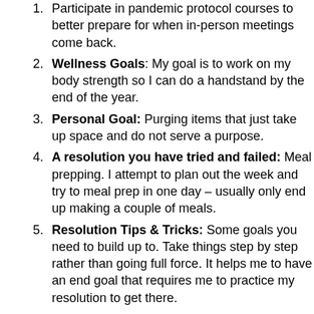Participate in pandemic protocol courses to better prepare for when in-person meetings come back.
Wellness Goals: My goal is to work on my body strength so I can do a handstand by the end of the year.
Personal Goal: Purging items that just take up space and do not serve a purpose.
A resolution you have tried and failed: Meal prepping. I attempt to plan out the week and try to meal prep in one day – usually only end up making a couple of meals.
Resolution Tips & Tricks: Some goals you need to build up to. Take things step by step rather than going full force. It helps me to have an end goal that requires me to practice my resolution to get there.
Jan
Professional/Educational Goal: When I retire, I will study for my